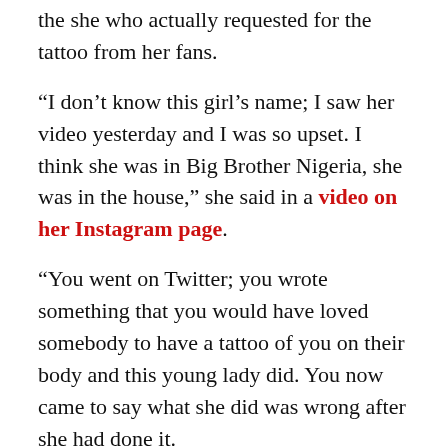the she who actually requested for the tattoo from her fans.
“I don’t know this girl’s name; I saw her video yesterday and I was so upset. I think she was in Big Brother Nigeria, she was in the house,” she said in a video on her Instagram page.
“You went on Twitter; you wrote something that you would have loved somebody to have a tattoo of you on their body and this young lady did. You now came to say what she did was wrong after she had done it.
Advertisement
“That was sarcasm, as far as Ada Ameh is concerned, and that was very wicked of you and that is still very wicked of you. You know yourself, and after this video, I know that people who know her would tag her. I know that she can never talk to me; she cannot even dare it because all of us are to deal with you on the floor, on the ground, on it...